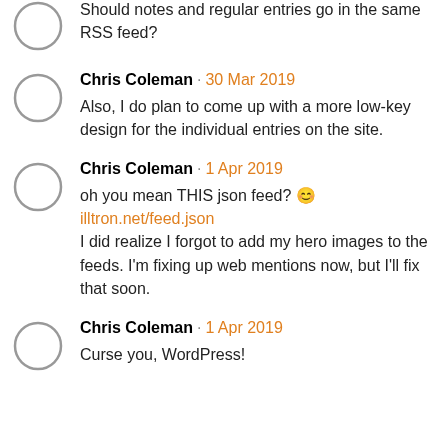Chris Coleman · 30 Mar 2019
Should notes and regular entries go in the same RSS feed?
Chris Coleman · 30 Mar 2019
Also, I do plan to come up with a more low-key design for the individual entries on the site.
Chris Coleman · 1 Apr 2019
oh you mean THIS json feed? 😊
illtron.net/feed.json
I did realize I forgot to add my hero images to the feeds. I'm fixing up web mentions now, but I'll fix that soon.
Chris Coleman · 1 Apr 2019
Curse you, WordPress!